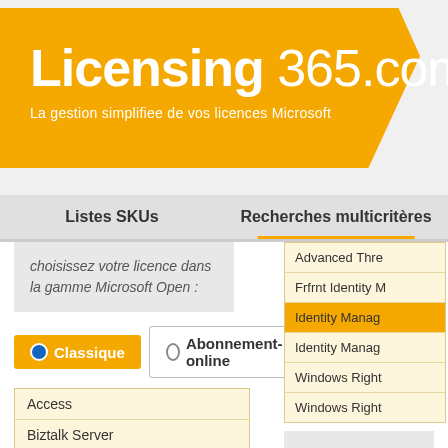Licensing 365.com
La gestion simplifiee de vos licences Microsoft
Listes SKUs | Recherches multicritères
choisissez votre licence dans la gamme Microsoft Open :
Classique
Abonnement-online
Access
Biztalk Server
CnE CAL Suites
Developer Tools
Dynamics
Excel
Exchange Server and CAL
Advanced Thre...
Frfrnt Identity M...
Identity Manag... (highlighted)
Identity Manag...
Windows Right...
Windows Right...
Licence Mic...